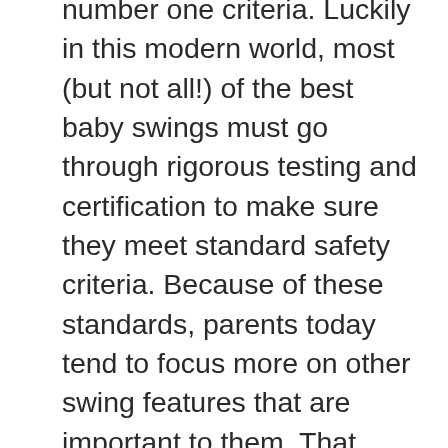number one criteria. Luckily in this modern world, most (but not all!) of the best baby swings must go through rigorous testing and certification to make sure they meet standard safety criteria. Because of these standards, parents today tend to focus more on other swing features that are important to them. That being said, you should always make sure the baby swing meets standard safety guidelines (including, but not limited to: a five-point harness, secure device frames, and adequate head and neck support).

Keep in mind, however, that per the AAP (American Academy of Pediatrics), almost